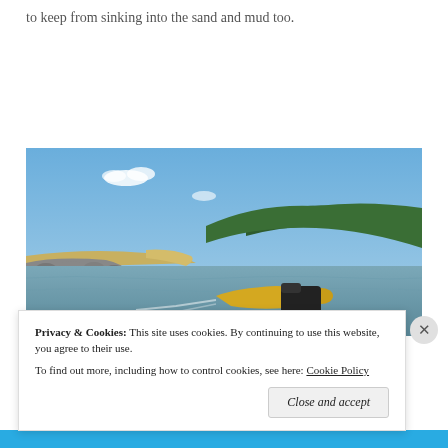to keep from sinking into the sand and mud too.
[Figure (photo): A kayak with a motor on a river or bay, with rocky jetty visible on the left, sandy shoreline and dense tree line in the background under a blue sky with scattered white clouds.]
Privacy & Cookies: This site uses cookies. By continuing to use this website, you agree to their use.
To find out more, including how to control cookies, see here: Cookie Policy
Close and accept